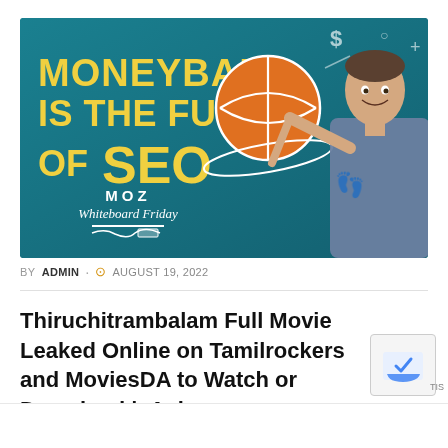[Figure (photo): Promotional image for MOZ Whiteboard Friday showing text 'MONEYBALL IS THE FUTURE OF SEO' in yellow on teal background with a basketball graphic and a man in a grey t-shirt pointing upward]
BY ADMIN · AUGUST 19, 2022
Thiruchitrambalam Full Movie Leaked Online on Tamilrockers and MoviesDA to Watch or Download |eAskme